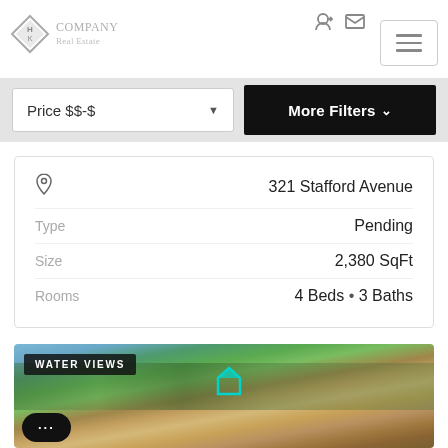[Figure (logo): Diamond-shaped logo with H/K initials and company name text in gray]
Price $$-$
More Filters ▾
|  |  |
| --- | --- |
| 📍 | 321 Stafford Avenue |
| Type | Pending |
| Size | 2,380 SqFt |
| Rooms | 4 Beds • 3 Baths |
[Figure (photo): Aerial photo of residential neighborhood with water views, showing rooftops and trees. 'WATER VIEWS' badge overlay and chat bubble widget at bottom left.]